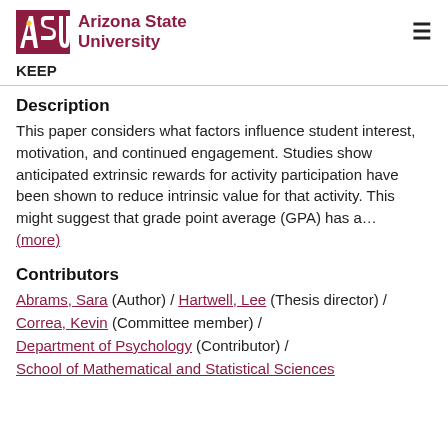[Figure (logo): Arizona State University logo with ASU block letters and wordmark in maroon]
KEEP
Description
This paper considers what factors influence student interest, motivation, and continued engagement. Studies show anticipated extrinsic rewards for activity participation have been shown to reduce intrinsic value for that activity. This might suggest that grade point average (GPA) has a… (more)
Contributors
Abrams, Sara (Author) / Hartwell, Lee (Thesis director) / Correa, Kevin (Committee member) / Department of Psychology (Contributor) / School of Mathematical and Statistical Sciences